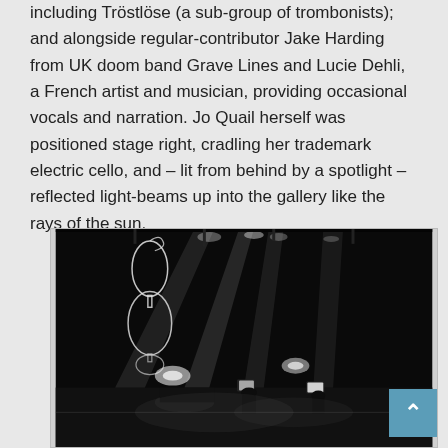including Tröstlöse (a sub-group of trombonists); and alongside regular-contributor Jake Harding from UK doom band Grave Lines and Lucie Dehli, a French artist and musician, providing occasional vocals and narration. Jo Quail herself was positioned stage right, cradling her trademark electric cello, and – lit from behind by a spotlight – reflected light-beams up into the gallery like the rays of the sun.
[Figure (photo): Black and white concert photograph showing a stage performance with dramatic spotlight beams shining down from above. A glowing wire sculpture resembling a cello or figure is visible on the left side. Musicians can be seen on stage in the lower portion of the image, with music stands and instruments visible.]